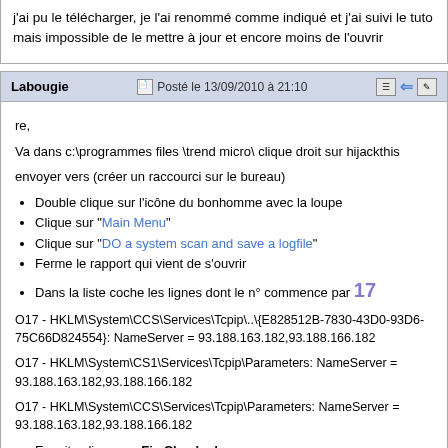j'ai pu le télécharger, je l'ai renommé comme indiqué et j'ai suivi le tuto mais impossible de le mettre à jour et encore moins de l'ouvrir
Labougie   Posté le 13/09/2010 à 21:10
re,
Va dans c:\programmes files \trend micro\ clique droit sur hijackthis
envoyer vers (créer un raccourci sur le bureau)
Double clique sur l'icône du bonhomme avec la loupe
Clique sur "Main Menu"
Clique sur "DO a system scan and save a logfile"
Ferme le rapport qui vient de s'ouvrir
Dans la liste coche les lignes dont le n° commence par 17
O17 - HKLM\System\CCS\Services\Tcpip\..\{E828512B-7830-43D0-93D6-75C66D824554}: NameServer = 93.188.163.182,93.188.166.182
O17 - HKLM\System\CS1\Services\Tcpip\Parameters: NameServer = 93.188.163.182,93.188.166.182
O17 - HKLM\System\CCS\Services\Tcpip\Parameters: NameServer = 93.188.163.182,93.188.166.182
Ensuite clique sur Fix Checked
Relance roit ensuite 🙂